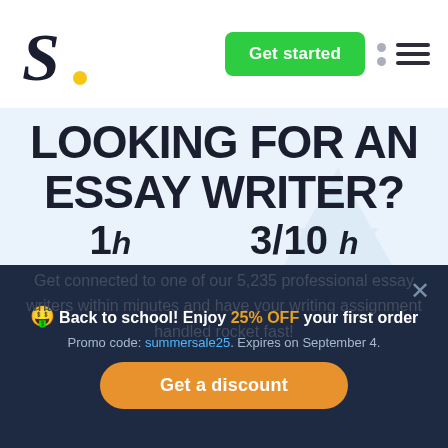[Figure (logo): Scribbr-style stylized S logo in dark navy italic with a yellow dot]
Get started
LOOKING FOR AN ESSAY WRITER?
Get connected to one of our 5,235 professional essay writers within minutes and have your writing assignment handled rocket fast!
🤑 Back to school! Enjoy 25% OFF your first order
Promo code: summersale25. Expires on September 4.
Get a discount